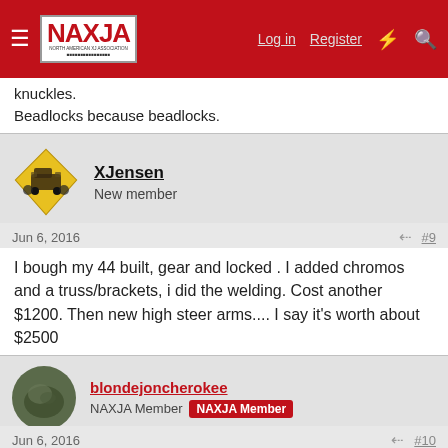NAXJA — North American XJ Association | Log in | Register
knuckles.
Beadlocks because beadlocks.
XJensen
New member
Jun 6, 2016 #9
I bough my 44 built, gear and locked . I added chromos and a truss/brackets, i did the welding. Cost another $1200. Then new high steer arms.... I say it's worth about $2500
blondejoncherokee
NAXJA Member  NAXJA Member
Jun 6, 2016 #10
check pirate for built 44s. you might be able to get a built 44 for